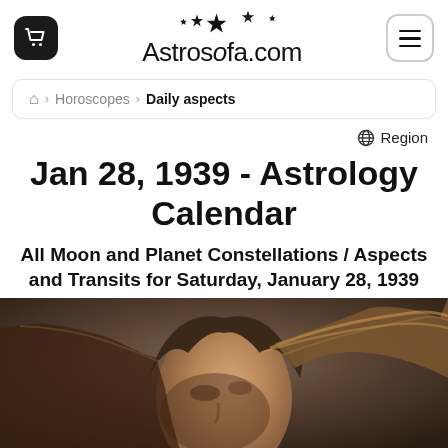Astrosofa.com
Horoscopes > Daily aspects
Region
Jan 28, 1939 - Astrology Calendar
All Moon and Planet Constellations / Aspects and Transits for Saturday, January 28, 1939
[Figure (photo): Photo of a woman with windblown hair, face tilted down, warm tones]